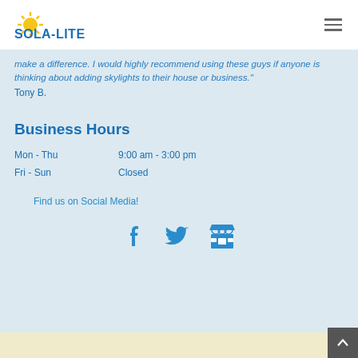[Figure (logo): Sola-Lite company logo with sun icon and bold blue text]
make a difference. I would highly recommend using these guys if anyone is thinking about adding skylights to their house or business."
Tony B.
Business Hours
| Day | Hours |
| --- | --- |
| Mon - Thu | 9:00 am - 3:00 pm |
| Fri - Sun | Closed |
Find us on Social Media!
[Figure (infographic): Social media icons: Facebook, Twitter, and a store/marketplace icon in blue]